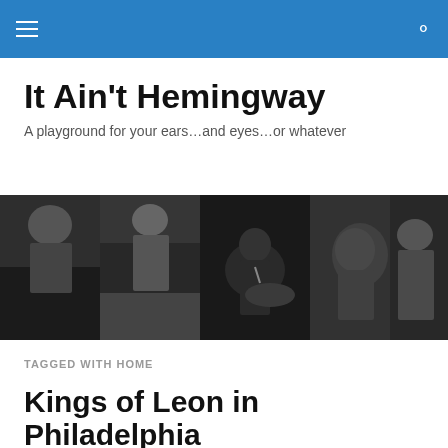It Ain't Hemingway
A playground for your ears…and eyes…or whatever
[Figure (photo): Black and white collage of various musicians and rock performers]
TAGGED WITH HOME
Kings of Leon in Philadelphia
5 minute commute to the stadium but stupid fuck here forgot her cash and God forbid the stadium parking lots upgrade to that crazy modern technology called Credit